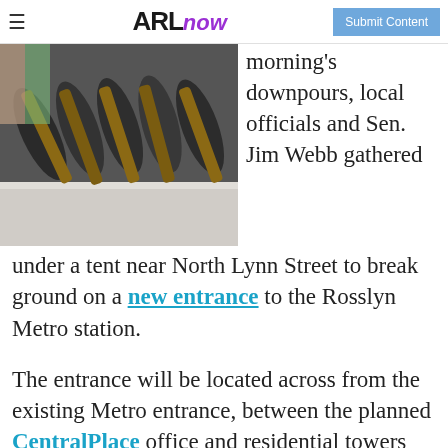ARLnow | Submit Content
[Figure (photo): Group of people at a groundbreaking ceremony holding shovels over a table with a white tablecloth]
morning's downpours, local officials and Sen. Jim Webb gathered under a tent near North Lynn Street to break ground on a new entrance to the Rosslyn Metro station.
The entrance will be located across from the existing Metro entrance, between the planned CentralPlace office and residential towers and near the future 1812 North Moore Street tower. It will feature three high-speed elevators and an emergency staircase, but no escalators.
The $22.6 million project also includes the construction